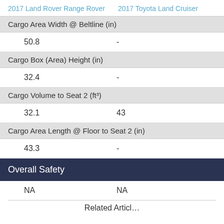2017 Land Rover Range Rover | 2017 Toyota Land Cruiser
|  | 2017 Land Rover Range Rover | 2017 Toyota Land Cruiser |
| --- | --- | --- |
| Cargo Area Width @ Beltline (in) | 50.8 | - |
| Cargo Box (Area) Height (in) | 32.4 | - |
| Cargo Volume to Seat 2 (ft³) | 32.1 | 43 |
| Cargo Area Length @ Floor to Seat 2 (in) | 43.3 | - |
| Overall Safety | NA | NA |
Related Articl…